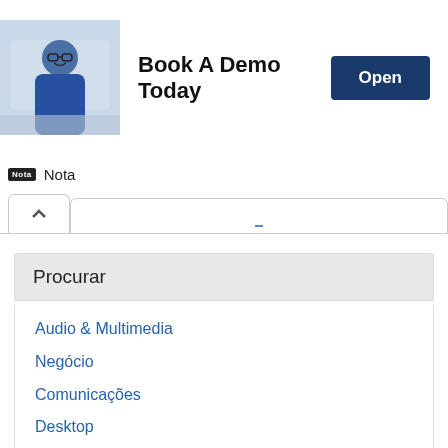[Figure (photo): Advertisement banner with a smiling man in a blue shirt, text 'Book A Demo Today' and an Open button]
Nota
Procurar
Audio & Multimedia
Negócio
Comunicações
Desktop
Desenvolvimento
Educação
Jogos e Entretenimento
Aplicações Gráficas
Home & Hobby
Internet
Segurança
Servidores
System Utilities